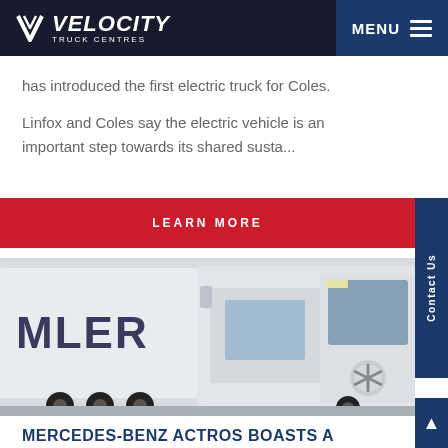VELOCITY TRUCK CENTRES | MENU
has introduced the first electric truck for Coles.

Linfox and Coles say the electric vehicle is an important step towards its shared susta...
LEARN MORE
[Figure (photo): White Mercedes-Benz Actros truck cab with MLER (Daimler) branding on trailer, parked in a lot, close-up showing the front cab and star logo]
MERCEDES-BENZ ACTROS BOASTS A